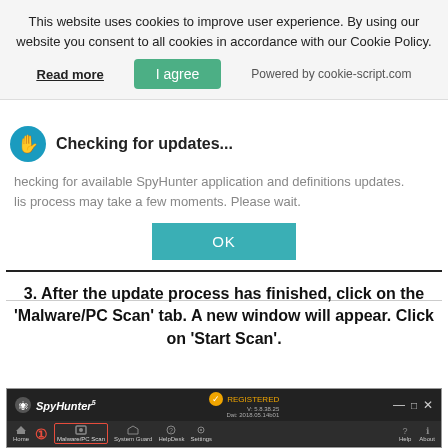This website uses cookies to improve user experience. By using our website you consent to all cookies in accordance with our Cookie Policy.
Read more   I agree   Powered by cookie-script.com
[Figure (screenshot): SpyHunter Checking for updates dialog showing 'Checking for updates...' title with a blue/teal icon, body text about checking for available SpyHunter application and definitions updates, and an OK button.]
3. After the update process has finished, click on the 'Malware/PC Scan' tab. A new window will appear. Click on 'Start Scan'.
[Figure (screenshot): SpyHunter 5 application window showing the navigation bar with Malware/PC Scan tab highlighted with a red box and arrow, along with Home, System Guard, HelpDesk, Settings, Help, and About tabs.]